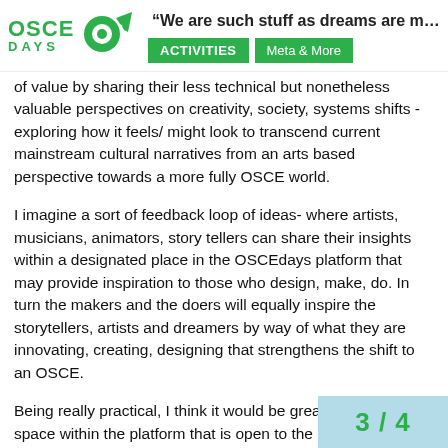“We are such stuff as dreams are m… | ACTIVITIES | Meta & More | OSCE DAYS
of value by sharing their less technical but nonetheless valuable perspectives on creativity, society, systems shifts - exploring how it feels/ might look to transcend current mainstream cultural narratives from an arts based perspective towards a more fully OSCE world.
I imagine a sort of feedback loop of ideas- where artists, musicians, animators, story tellers can share their insights within a designated place in the OSCEdays platform that may provide inspiration to those who design, make, do. In turn the makers and the doers will equally inspire the storytellers, artists and dreamers by way of what they are innovating, creating, designing that strengthens the shift to an OSCE.
Being really practical, I think it would be great to categorize a space within the platform that is open to the non techie types but whose inspirations may stimulate, feed and sustain new and current ideas.
It may be that I have completely missed...
3 / 4